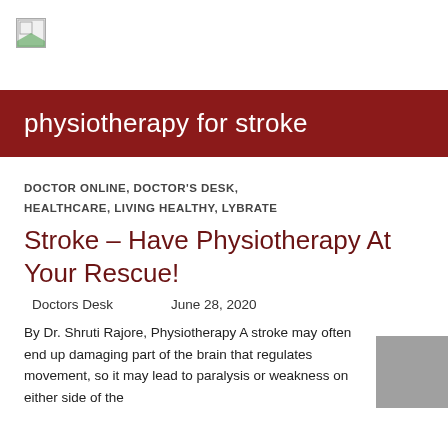[Figure (logo): Small logo placeholder image in top left]
physiotherapy for stroke
DOCTOR ONLINE, DOCTOR'S DESK, HEALTHCARE, LIVING HEALTHY, LYBRATE
Stroke – Have Physiotherapy At Your Rescue!
Doctors Desk    June 28, 2020
By Dr. Shruti Rajore, Physiotherapy A stroke may often end up damaging part of the brain that regulates movement, so it may lead to paralysis or weakness on either side of the
[Figure (photo): Grey thumbnail image placeholder on the right side]